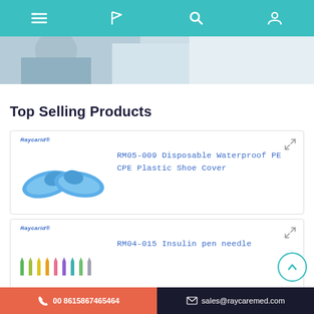Navigation bar with menu, flag, search, and user icons
[Figure (photo): Hero banner image showing medical staff in blue and white clothing]
Top Selling Products
[Figure (photo): Product card: RM05-009 Disposable Waterproof PE CPE Plastic Shoe Cover — shows blue plastic shoe covers]
[Figure (photo): Product card: RM04-015 Insulin pen needle — shows row of colorful insulin pen needles]
[Figure (photo): Product card: RM03-011 Economic Urinary Drainage Bag — partially visible]
00 8615867465464 | sales@raycaremed.com